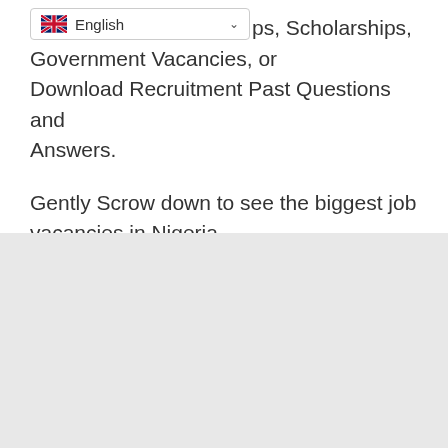[Figure (screenshot): A language selector dropdown widget showing a UK flag and the text 'English' with a chevron/dropdown arrow]
ps, Scholarships, Government Vacancies, or Download Recruitment Past Questions and Answers.
Gently Scrow down to see the biggest job vacancies in Nigeria.